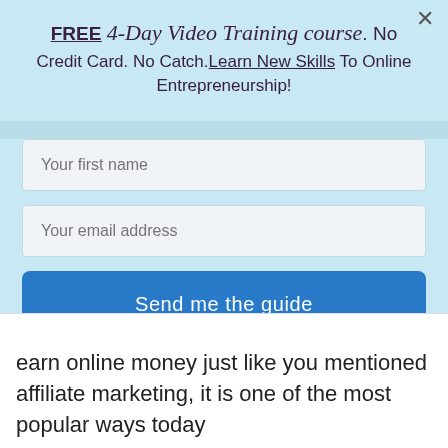FREE 4-Day Video Training course. No Credit Card. No Catch. Learn New Skills To Online Entrepreneurship!
[Figure (screenshot): Text input field with placeholder 'Your first name']
[Figure (screenshot): Text input field with placeholder 'Your email address']
[Figure (screenshot): Blue button labeled 'Send me the guide']
earn online money just like you mentioned affiliate marketing, it is one of the most popular ways today